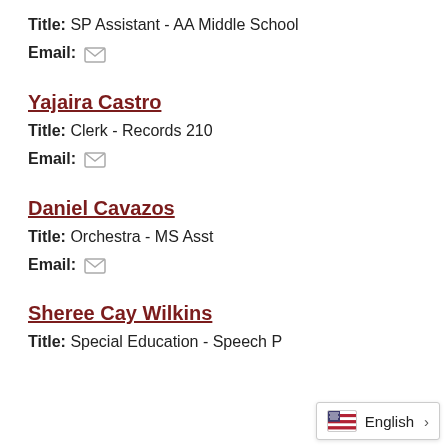Title: SP Assistant - AA Middle School
Email: [icon]
Yajaira Castro
Title: Clerk - Records 210
Email: [icon]
Daniel Cavazos
Title: Orchestra - MS Asst
Email: [icon]
Sheree Cay Wilkins
Title: Special Education - Speech P...